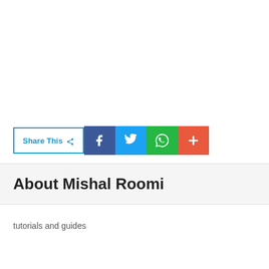[Figure (infographic): Share This button with social media icons: Facebook (blue), Twitter (light blue), WhatsApp (green), More/Plus (orange-red)]
About Mishal Roomi
tutorials and guides